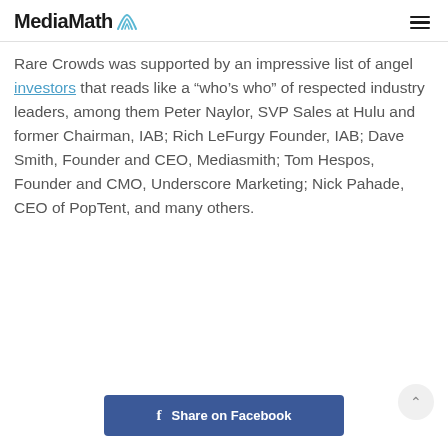MediaMath
Rare Crowds was supported by an impressive list of angel investors that reads like a “who’s who” of respected industry leaders, among them Peter Naylor, SVP Sales at Hulu and former Chairman, IAB; Rich LeFurgy Founder, IAB; Dave Smith, Founder and CEO, Mediasmith; Tom Hespos, Founder and CMO, Underscore Marketing; Nick Pahade, CEO of PopTent, and many others.